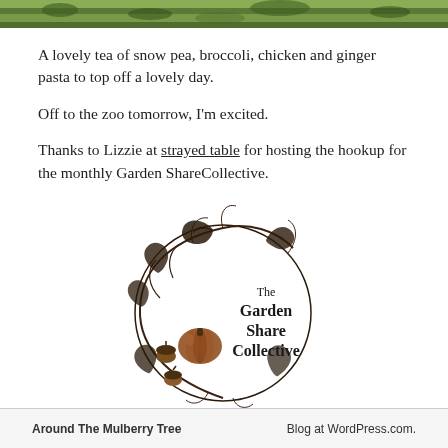[Figure (photo): Partial photo showing green outdoor scene with grass and trees at the top of the page]
A lovely tea of snow pea, broccoli, chicken and ginger pasta to top off a lovely day.
Off to the zoo tomorrow, I'm excited.
Thanks to Lizzie at strayed table for hosting the hookup for the monthly Garden ShareCollective.
[Figure (logo): The Garden Share Collective logo — a circular vine design with autumn leaves and a pumpkin, with text 'The Garden Share Collective' inside]
Around The Mulberry Tree    Blog at WordPress.com.